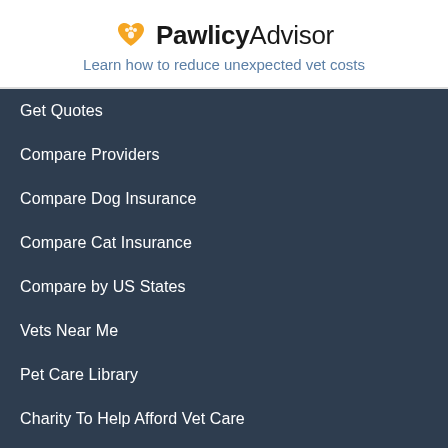[Figure (logo): PawlicyAdvisor logo with orange heart and paw print icon]
Learn how to reduce unexpected vet costs
Get Quotes
Compare Providers
Compare Dog Insurance
Compare Cat Insurance
Compare by US States
Vets Near Me
Pet Care Library
Charity To Help Afford Vet Care
OUR PARTNERS
ASPCA Pet Health Insurance